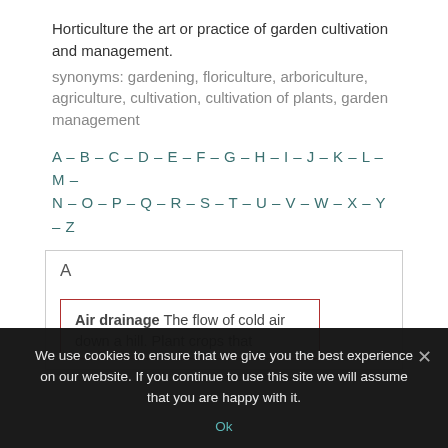Horticulture the art or practice of garden cultivation and management.
synonyms: gardening, floriculture, arboriculture, agriculture, cultivation, cultivation of plants, garden management
A – B – C – D – E – F – G – H – I – J – K – L – M – N – O – P – Q – R – S – T – U – V – W – X – Y – Z
A
Air drainage The flow of cold air down a hill. Plant crops that
We use cookies to ensure that we give you the best experience on our website. If you continue to use this site we will assume that you are happy with it.
Ok